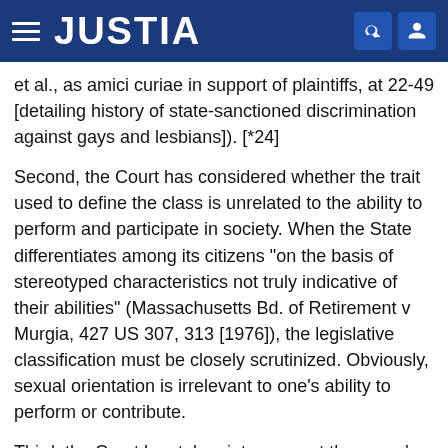JUSTIA
et al., as amici curiae in support of plaintiffs, at 22-49 [detailing history of state-sanctioned discrimination against gays and lesbians]). [*24]
Second, the Court has considered whether the trait used to define the class is unrelated to the ability to perform and participate in society. When the State differentiates among its citizens "on the basis of stereotyped characteristics not truly indicative of their abilities" (Massachusetts Bd. of Retirement v Murgia, 427 US 307, 313 [1976]), the legislative classification must be closely scrutinized. Obviously, sexual orientation is irrelevant to one's ability to perform or contribute.
Third, the Court has taken into account the group's relative political powerlessness. Defendants contend that classifications based on sexual orientation should